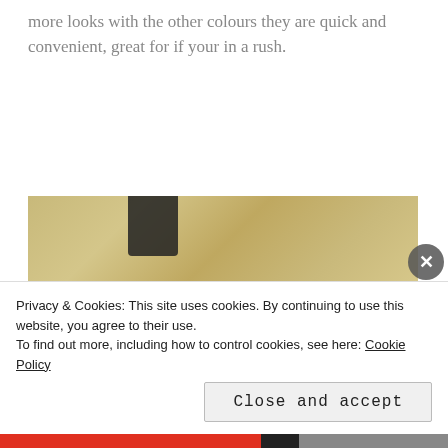more looks with the other colours they are quick and convenient, great for if your in a rush.
[Figure (photo): Photo of a pink nail polish bottle lying on a wooden surface. A dark object is visible in the upper left. The bottle has a white label with small text and a globe icon reading '351 071'.]
Privacy & Cookies: This site uses cookies. By continuing to use this website, you agree to their use.
To find out more, including how to control cookies, see here: Cookie Policy
Close and accept